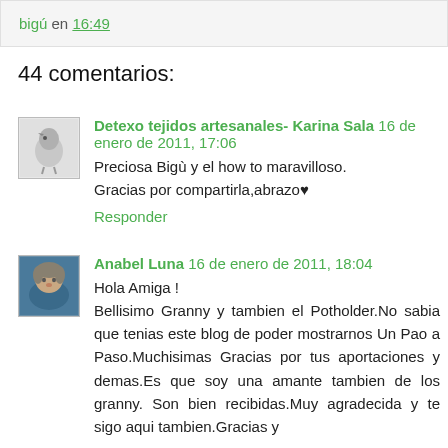bigú en 16:49
44 comentarios:
Detexo tejidos artesanales- Karina Sala 16 de enero de 2011, 17:06
Preciosa Bigù y el how to maravilloso.
Gracias por compartirla,abrazo♥
Responder
Anabel Luna 16 de enero de 2011, 18:04
Hola Amiga !
Bellisimo Granny y tambien el Potholder.No sabia que tenias este blog de poder mostrarnos Un Pao a Paso.Muchisimas Gracias por tus aportaciones y demas.Es que soy una amante tambien de los granny. Son bien recibidas.Muy agradecida y te sigo aqui tambien.Gracias y